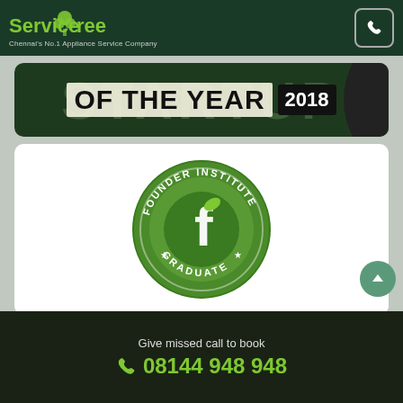ServiceTree - Chennai's No.1 Appliance Service Company
[Figure (illustration): Award banner showing 'OF THE YEAR 2018' text on dark green background with large background text 'STARTUP']
[Figure (logo): Founder Institute Graduate circular badge - green circular seal with 'FOUNDER INSTITUTE' text around the border, 'GRADUATE' at bottom, stylized 'f' letter in center with leaf, stars on sides]
[Figure (logo): ISO 9001:2015 Certified Company circular blue badge with 'CERTIFIED' text at top, 'ISO' in large text, '9001:2015' below, 'COMPANY' at bottom]
Give missed call to book
08144 948 948